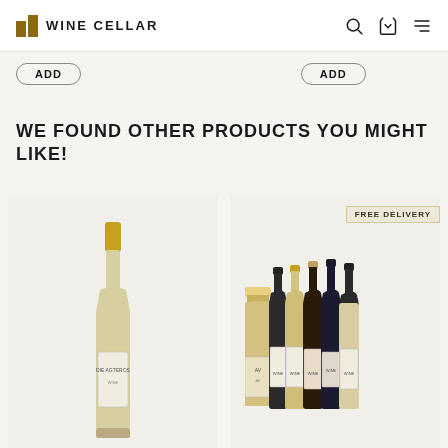WINE CELLAR
ADD
ADD
WE FOUND OTHER PRODUCTS YOU MIGHT LIKE!
[Figure (photo): Wine bottle - Die Agteros white wine with gold cap]
[Figure (photo): Six assorted wine bottles grouped together, with a FREE DELIVERY badge]